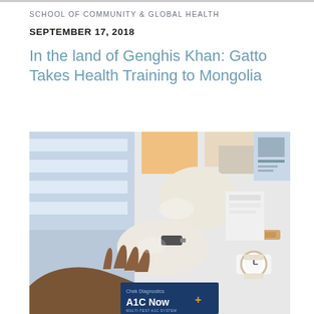SCHOOL OF COMMUNITY & GLOBAL HEALTH
SEPTEMBER 17, 2018
In the land of Genghis Khan: Gatto Takes Health Training to Mongolia
[Figure (photo): Close-up photograph of a medical professional wearing white latex gloves performing a finger-prick blood test on a patient's hand. A portable A1C Now+ diabetes testing device (by Chek Diagnostics) is visible in the foreground. Medical supplies are visible in the background on a blue-draped table.]